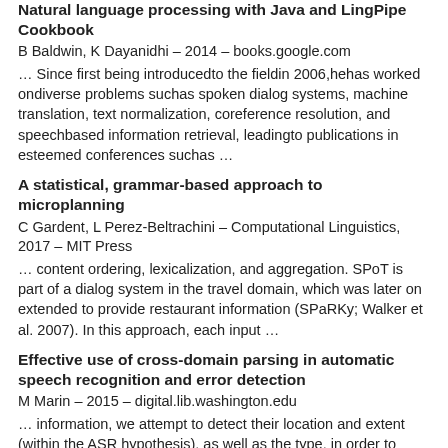Natural language processing with Java and LingPipe Cookbook
B Baldwin, K Dayanidhi – 2014 – books.google.com
… Since first being introducedto the fieldin 2006,hehas worked ondiverse problems suchas spoken dialog systems, machine translation, text normalization, coreference resolution, and speechbased information retrieval, leadingto publications in esteemed conferences suchas …
A statistical, grammar-based approach to microplanning
C Gardent, L Perez-Beltrachini – Computational Linguistics, 2017 – MIT Press
… content ordering, lexicalization, and aggregation. SPoT is part of a dialog system in the travel domain, which was later on extended to provide restaurant information (SPaRKy; Walker et al. 2007). In this approach, each input …
Effective use of cross-domain parsing in automatic speech recognition and error detection
M Marin – 2015 – digital.lib.washington.edu
… information, we attempt to detect their location and extent (within the ASR hypothesis), as well as the type, in order to handle them effectively during the subsequent clarification request made by the dialog system component. In particular